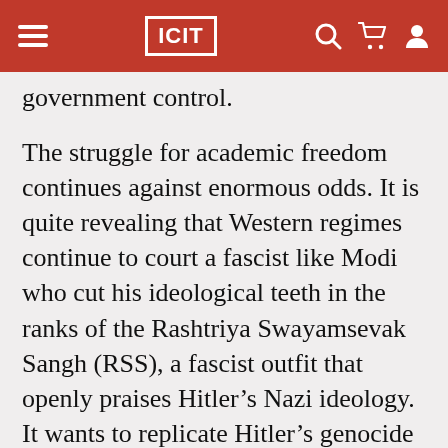ICIT
government control.
The struggle for academic freedom continues against enormous odds. It is quite revealing that Western regimes continue to court a fascist like Modi who cut his ideological teeth in the ranks of the Rashtriya Swayamsevak Sangh (RSS), a fascist outfit that openly praises Hitler’s Nazi ideology. It wants to replicate Hitler’s genocide of Jews against the Muslims.